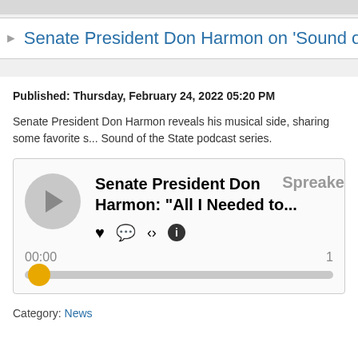Senate President Don Harmon on 'Sound of th
Published: Thursday, February 24, 2022 05:20 PM
Senate President Don Harmon reveals his musical side, sharing some favorite s... Sound of the State podcast series.
[Figure (other): Podcast player widget showing Senate President Don Harmon: "All I Needed to..." with play button, icons (heart, comment, share, info), Spreaker branding, time display 00:00, and progress bar with yellow dot at start.]
Category: News